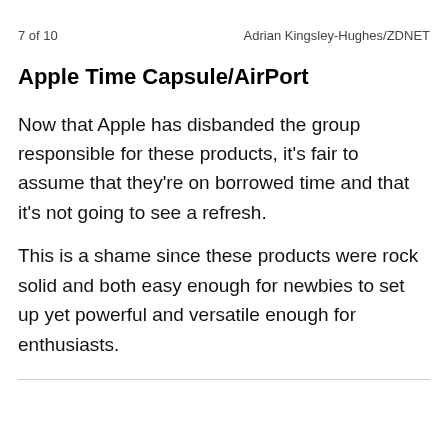7 of 10    Adrian Kingsley-Hughes/ZDNET
Apple Time Capsule/AirPort
Now that Apple has disbanded the group responsible for these products, it's fair to assume that they're on borrowed time and that it's not going to see a refresh.
This is a shame since these products were rock solid and both easy enough for newbies to set up yet powerful and versatile enough for enthusiasts.